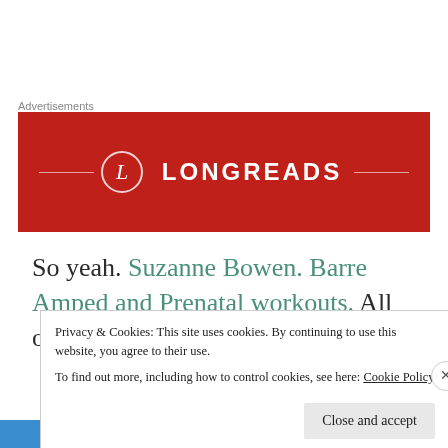Advertisements
[Figure (logo): Longreads advertisement banner — red background with white circle containing letter L and the word LONGREADS in white capital letters with decorative horizontal lines on either side]
So yeah. Suzanne Bowen. Barre Amped and Prenatal workouts. All on Amazon. Check 'em out.
Privacy & Cookies: This site uses cookies. By continuing to use this website, you agree to their use.
To find out more, including how to control cookies, see here: Cookie Policy
Close and accept